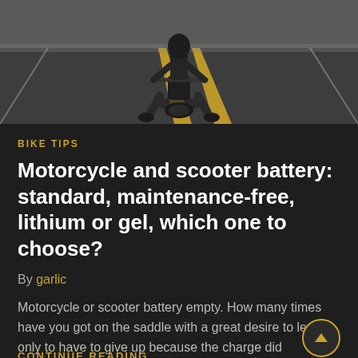[Figure (photo): Motorcycle rider on an open road, shot from front-low angle showing the front wheel and rider's lower body, with yellow center lines on asphalt road disappearing into the distance.]
BIKE TIPS
Motorcycle and scooter battery: standard, maintenance-free, lithium or gel, which one to choose?
By garlic
Motorcycle or scooter battery empty. How many times have you got on the saddle with a great desire to leave, only to have to give up because the charge did
CONTINUE READING